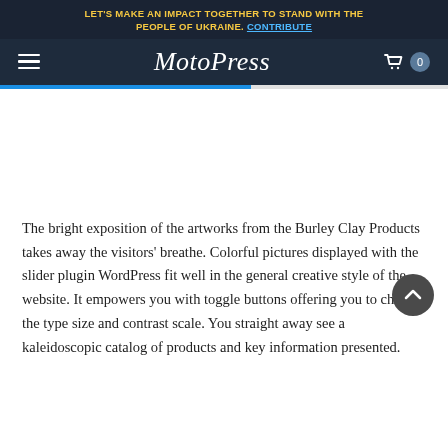LET'S MAKE AN IMPACT TOGETHER TO STAND WITH THE PEOPLE OF UKRAINE. CONTRIBUTE
[Figure (screenshot): MotoPress website navigation bar with hamburger menu, logo, and cart icon showing 0 items]
The bright exposition of the artworks from the Burley Clay Products takes away the visitors' breathe. Colorful pictures displayed with the slider plugin WordPress fit well in the general creative style of the website. It empowers you with toggle buttons offering you to change the type size and contrast scale. You straight away see a kaleidoscopic catalog of products and key information presented.